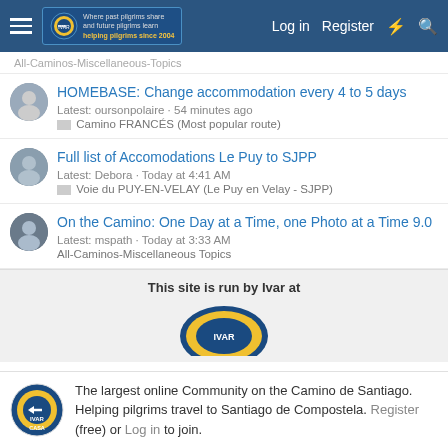Navigation bar with hamburger menu, IVAR logo, Log in, Register links
All-Caminos-Miscellaneous-Topics
HOMEBASE: Change accommodation every 4 to 5 days
Latest: oursonpolaire · 54 minutes ago
Camino FRANCÉS (Most popular route)
Full list of Accomodations Le Puy to SJPP
Latest: Debora · Today at 4:41 AM
Voie du PUY-EN-VELAY (Le Puy en Velay - SJPP)
On the Camino: One Day at a Time, one Photo at a Time 9.0
Latest: mspath · Today at 3:33 AM
All-Caminos-Miscellaneous Topics
This site is run by Ivar at
[Figure (logo): IVAR Casa Camino de Santiago circular logo in blue and yellow]
The largest online Community on the Camino de Santiago. Helping pilgrims travel to Santiago de Compostela. Register (free) or Log in to join.